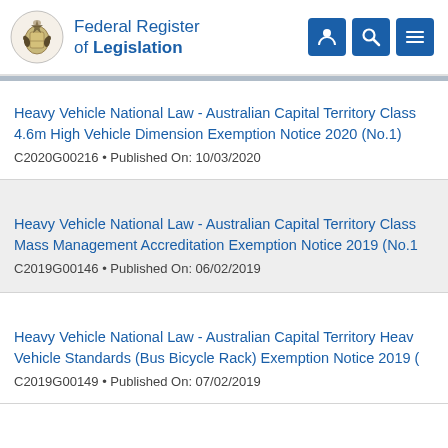Federal Register of Legislation
Heavy Vehicle National Law - Australian Capital Territory Class 4.6m High Vehicle Dimension Exemption Notice 2020 (No.1)
C2020G00216 • Published On: 10/03/2020
Heavy Vehicle National Law - Australian Capital Territory Class Mass Management Accreditation Exemption Notice 2019 (No.1)
C2019G00146 • Published On: 06/02/2019
Heavy Vehicle National Law - Australian Capital Territory Heavy Vehicle Standards (Bus Bicycle Rack) Exemption Notice 2019
C2019G00149 • Published On: 07/02/2019